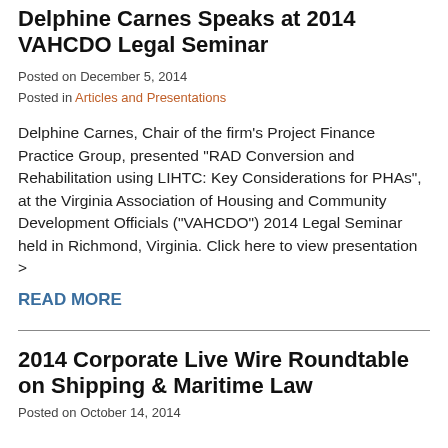Delphine Carnes Speaks at 2014 VAHCDO Legal Seminar
Posted on December 5, 2014
Posted in Articles and Presentations
Delphine Carnes, Chair of the firm’s Project Finance Practice Group, presented “RAD Conversion and Rehabilitation using LIHTC: Key Considerations for PHAs”, at the Virginia Association of Housing and Community Development Officials (“VAHCDO”) 2014 Legal Seminar held in Richmond, Virginia. Click here to view presentation >
READ MORE
2014 Corporate Live Wire Roundtable on Shipping & Maritime Law
Posted on October 14, 2014